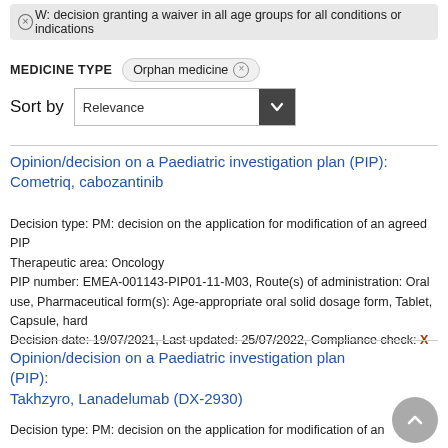W: decision granting a waiver in all age groups for all conditions or indications ⊗
MEDICINE TYPE  Orphan medicine ⊗
Sort by  Relevance
Opinion/decision on a Paediatric investigation plan (PIP): Cometriq, cabozantinib
Decision type: PM: decision on the application for modification of an agreed PIP
Therapeutic area: Oncology
PIP number: EMEA-001143-PIP01-11-M03, Route(s) of administration: Oral use, Pharmaceutical form(s): Age-appropriate oral solid dosage form, Tablet, Capsule, hard
Decision date: 19/07/2021, Last updated: 25/07/2022, Compliance check: X
Opinion/decision on a Paediatric investigation plan (PIP): Takhzyro, Lanadelumab (DX-2930)
Decision type: PM: decision on the application for modification of an